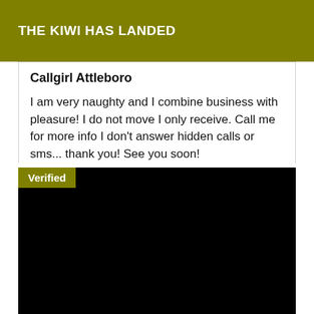THE KIWI HAS LANDED
Callgirl Attleboro
I am very naughty and I combine business with pleasure! I do not move I only receive. Call me for more info I don't answer hidden calls or sms... thank you! See you soon!
[Figure (photo): Dark/black image with a 'Verified' badge overlay in olive green at the top-left corner.]